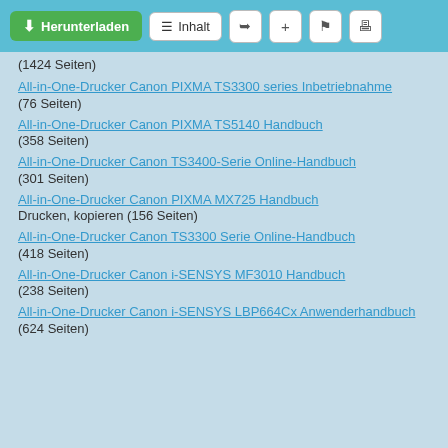Herunterladen | Inhalt
(1424 Seiten)
All-in-One-Drucker Canon PIXMA TS3300 series Inbetriebnahme
(76 Seiten)
All-in-One-Drucker Canon PIXMA TS5140 Handbuch
(358 Seiten)
All-in-One-Drucker Canon TS3400-Serie Online-Handbuch
(301 Seiten)
All-in-One-Drucker Canon PIXMA MX725 Handbuch
Drucken, kopieren (156 Seiten)
All-in-One-Drucker Canon TS3300 Serie Online-Handbuch
(418 Seiten)
All-in-One-Drucker Canon i-SENSYS MF3010 Handbuch
(238 Seiten)
All-in-One-Drucker Canon i-SENSYS LBP664Cx Anwenderhandbuch
(624 Seiten)